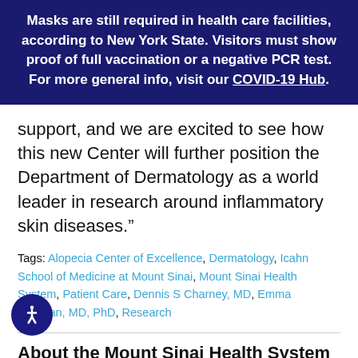Masks are still required in health care facilities, according to New York State. Visitors must show proof of full vaccination or a negative PCR test. For more general info, visit our COVID-19 Hub.
support, and we are excited to see how this new Center will further position the Department of Dermatology as a world leader in research around inflammatory skin diseases.”
Tags: Alopecia Center of Excellence, Dermatology, Icahn School of Medicine at Mount Sinai, Mount Sinai Health System, Patient Care, Dennis S Charney, MD, Emma Guttman, MD, PhD, Research
About the Mount Sinai Health System
Mount Sinai Health System is one of the